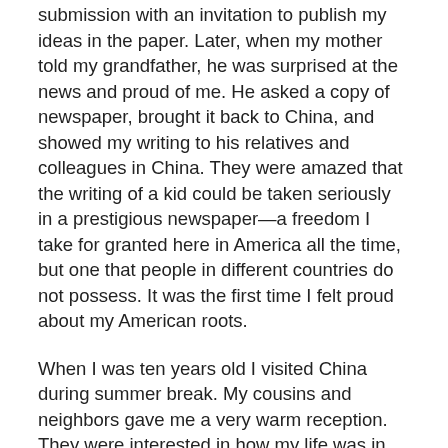submission with an invitation to publish my ideas in the paper. Later, when my mother told my grandfather, he was surprised at the news and proud of me. He asked a copy of newspaper, brought it back to China, and showed my writing to his relatives and colleagues in China. They were amazed that the writing of a kid could be taken seriously in a prestigious newspaper—a freedom I take for granted here in America all the time, but one that people in different countries do not possess. It was the first time I felt proud about my American roots.
When I was ten years old I visited China during summer break. My cousins and neighbors gave me a very warm reception. They were interested in how my life was in the United States. They had so many questions. They were envious when I told them I had three months of summer vacation, and at the time, minimal homework. They told me they did not have enough time to relax due to a large load of summer work. In China, there is a lot of peer pressure, competition, and high expectations from parents and